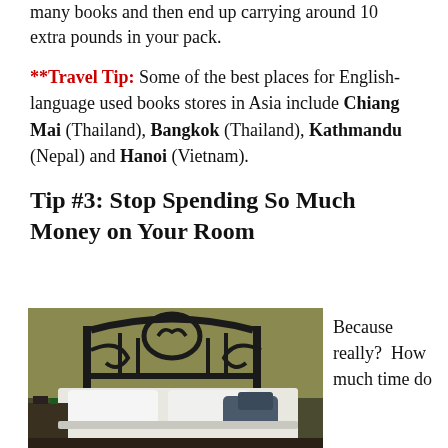many books and then end up carrying around 10 extra pounds in your pack.
**Travel Tip: Some of the best places for English-language used books stores in Asia include Chiang Mai (Thailand), Bangkok (Thailand), Kathmandu (Nepal) and Hanoi (Vietnam).
Tip #3: Stop Spending So Much Money on Your Room
[Figure (photo): Hotel room with a bed featuring an ornate black metal headboard, white pillows and bedding, items on the bed, and a bedside table. The walls are olive/yellow-green colored.]
Because really?  How much time do